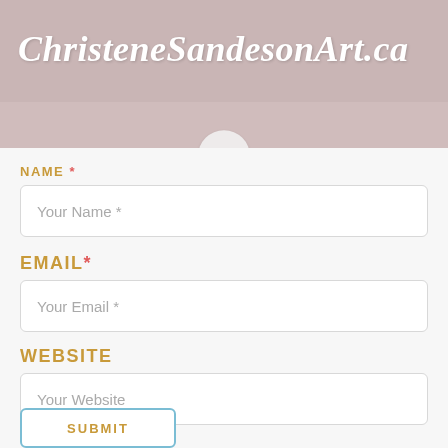ChristeneSandesonArt.ca
[Figure (screenshot): Navigation hamburger menu icon inside a circle]
NAME *
Your Name *
EMAIL *
Your Email *
WEBSITE
Your Website
SUBMIT